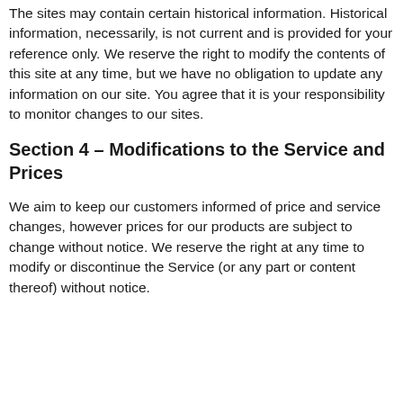The sites may contain certain historical information. Historical information, necessarily, is not current and is provided for your reference only. We reserve the right to modify the contents of this site at any time, but we have no obligation to update any information on our site. You agree that it is your responsibility to monitor changes to our sites.
Section 4 – Modifications to the Service and Prices
We aim to keep our customers informed of price and service changes, however prices for our products are subject to change without notice. We reserve the right at any time to modify or discontinue the Service (or any part or content thereof) without notice.